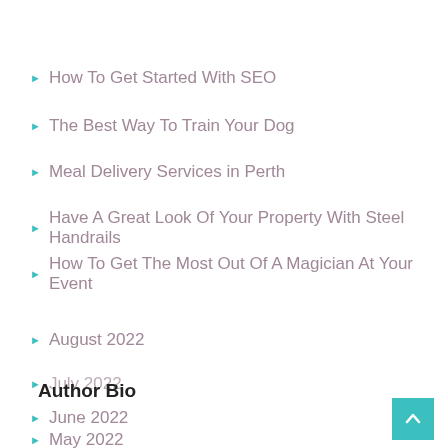How To Get Started With SEO
The Best Way To Train Your Dog
Meal Delivery Services in Perth
Have A Great Look Of Your Property With Steel Handrails
How To Get The Most Out Of A Magician At Your Event
August 2022
July 2022
Author Bio
June 2022
May 2022